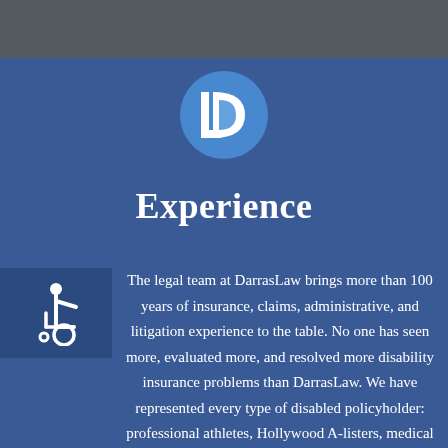[Figure (logo): DarrasLaw logo: stylized letter D with an inner smaller bracket/L shape in white on a circular blue background]
Experience
[Figure (illustration): Wheelchair accessibility icon - white figure in wheelchair on blue square background]
The legal team at DarrasLaw brings more than 100 years of insurance, claims, administrative, and litigation experience to the table. No one has seen more, evaluated more, and resolved more disability insurance problems than DarrasLaw. We have represented every type of disabled policyholder: professional athletes, Hollywood A-listers, medical